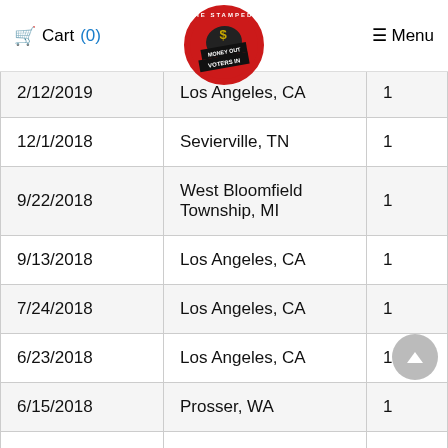Cart (0)   [The Stampede - Money Out Voters In logo]   Menu
| Date | Location | Qty |
| --- | --- | --- |
| 2/12/2019 | Los Angeles, CA | 1 |
| 12/1/2018 | Sevierville, TN | 1 |
| 9/22/2018 | West Bloomfield Township, MI | 1 |
| 9/13/2018 | Los Angeles, CA | 1 |
| 7/24/2018 | Los Angeles, CA | 1 |
| 6/23/2018 | Los Angeles, CA | 1 |
| 6/15/2018 | Prosser, WA | 1 |
| 5/26/2018 | Irvine, CA | 1 |